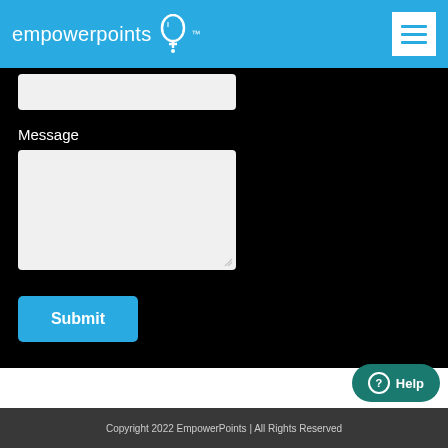empowerpoints
Message
Submit
[Figure (screenshot): Help button widget in bottom right corner]
Copyright 2022 EmpowerPoints | All Rights Reserved